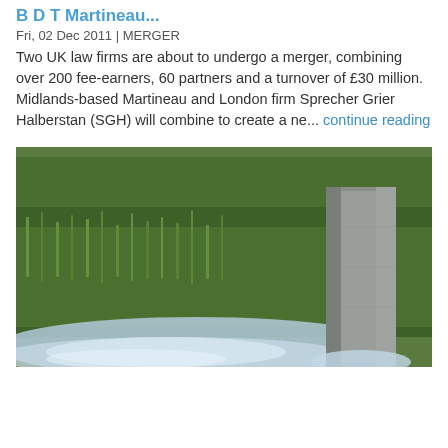B D T Martineau...
Fri, 02 Dec 2011 | MERGER
Two UK law firms are about to undergo a merger, combining over 200 fee-earners, 60 partners and a turnover of £30 million. Midlands-based Martineau and London firm Sprecher Grier Halberstan (SGH) will combine to create a ne... continue reading
[Figure (photo): Outdoor photograph showing green grass in background with water flowing around a concrete or stone post/pillar structure in foreground]